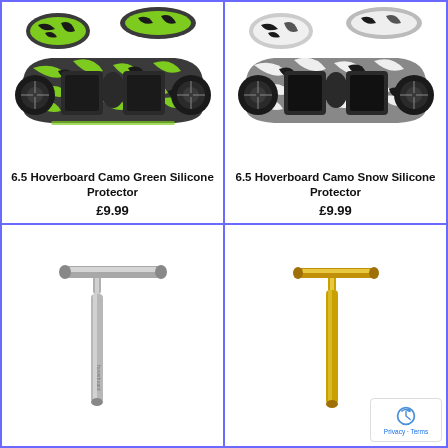[Figure (photo): 6.5 Hoverboard with Camo Green Silicone Protector case, shown with protective cover pieces]
6.5 Hoverboard Camo Green Silicone Protector
£9.99
[Figure (photo): 6.5 Hoverboard with Camo Snow Silicone Protector case, shown with protective cover pieces in black and white]
6.5 Hoverboard Camo Snow Silicone Protector
£9.99
[Figure (photo): Silver T-bar handlebar pole for hoverboard]
[Figure (photo): Gold T-bar handlebar pole for hoverboard]